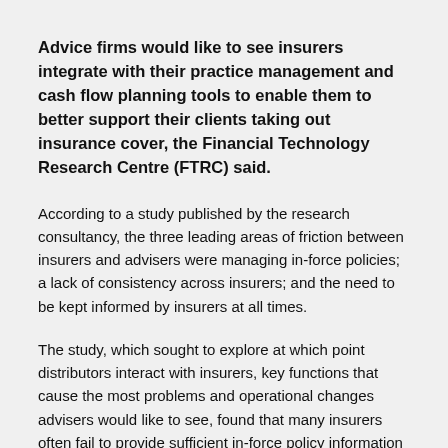Advice firms would like to see insurers integrate with their practice management and cash flow planning tools to enable them to better support their clients taking out insurance cover, the Financial Technology Research Centre (FTRC) said.
According to a study published by the research consultancy, the three leading areas of friction between insurers and advisers were managing in-force policies; a lack of consistency across insurers; and the need to be kept informed by insurers at all times.
The study, which sought to explore at which point distributors interact with insurers, key functions that cause the most problems and operational changes advisers would like to see, found that many insurers often fail to provide sufficient in-force policy information or functionality to make changes within the operating systems advisers use.